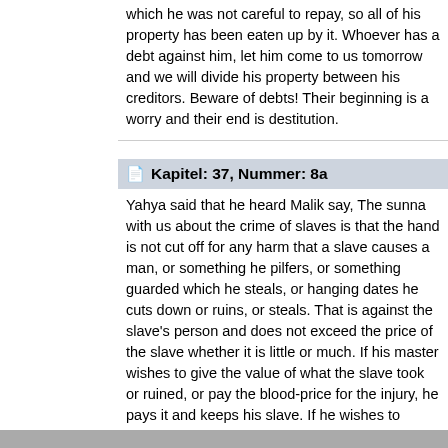which he was not careful to repay, so all of his property has been eaten up by it. Whoever has a debt against him, let him come to us tomorrow and we will divide his property between his creditors. Beware of debts! Their beginning is a worry and their end is destitution.
Kapitel: 37, Nummer: 8a
Yahya said that he heard Malik say, The sunna with us about the crime of slaves is that the hand is not cut off for any harm that a slave causes a man, or something he pilfers, or something guarded which he steals, or hanging dates he cuts down or ruins, or steals. That is against the slave's person and does not exceed the price of the slave whether it is little or much. If his master wishes to give the value of what the slave took or ruined, or pay the blood-price for the injury, he pays it and keeps his slave. If he wishes to surrender him, he surrenders him, and none of that is against him. The master has the option in that.
Ansicht von 1-12 von 13 Ahadith, Seite 1/2
[ 1 2 › Ende